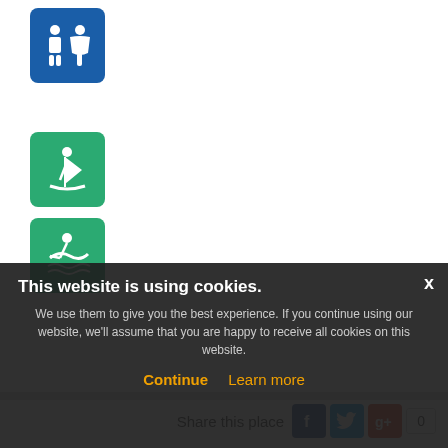[Figure (illustration): Blue square icon with white male and female restroom symbols]
[Figure (illustration): Green square icon with white windsurfing figure]
[Figure (illustration): Green square icon with white swimming/surfing figure and waves]
Share this place
[Figure (logo): Facebook share button (blue square with white f)]
[Figure (logo): Twitter share button (blue square with white bird)]
[Figure (logo): Google Plus share button (multi-color square with g+)]
0
9 comment (s)
on 21.06.2021
Es steht zwar ein Schild Parken verboten aber es
kaengurubael
kein P...
This website is using cookies.
We use them to give you the best experience. If you continue using our website, we'll assume that you are happy to receive all cookies on this website.
Continue
Learn more